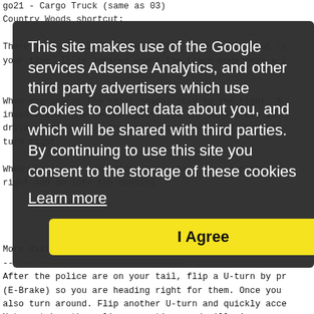go21 - Cargo Truck (same as 03)
[Figure (screenshot): Cookie consent overlay on a dark semi-transparent background. Text reads: 'This site makes use of the Google services Adsense Analytics, and other third party advertisers which use Cookies to collect data about you, and which will be shared with third parties. By continuing to use this site you consent to the storage of these cookies' with a 'Learn more' link and an 'I Agree' yellow button.]
More distance between the police:
----------------------------------
After the police are on your tail, flip a U-turn by pr
(E-Brake) so you are heading right for them. Once you
also turn around. Flip another U-turn and quickly acce
U-turn takes the police more time, and will give you a
to get ahead of them.
How to get the BE injection: